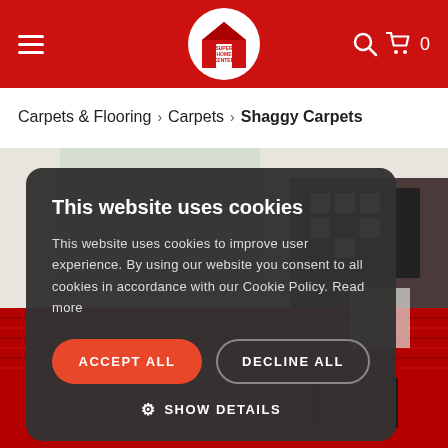[Figure (screenshot): Red navigation header bar with hamburger menu on left, Super Home Center circular logo in center, search and cart icons on right with cart count 0]
Carpets & Flooring > Carpets > Shaggy Carpets
[Figure (photo): Background product photo showing a red shaggy carpet with a modern chair and black-and-white patterned pillow]
This website uses cookies
This website uses cookies to improve user experience. By using our website you consent to all cookies in accordance with our Cookie Policy. Read more
ACCEPT ALL
DECLINE ALL
SHOW DETAILS